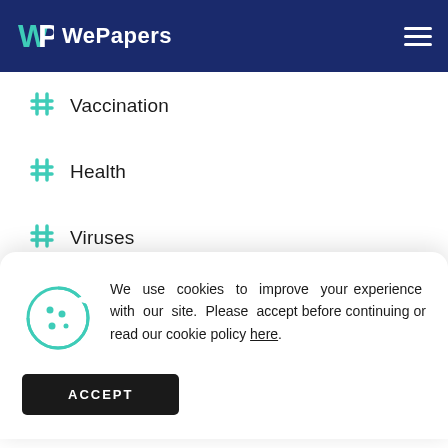WePapers
# Vaccination
# Health
# Viruses
We use cookies to improve your experience with our site. Please accept before continuing or read our cookie policy here.
# RISK
# Nursing
# Time